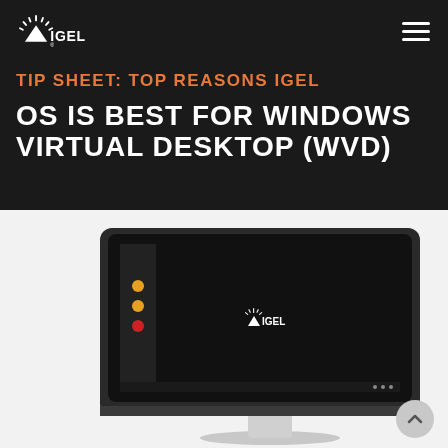[Figure (logo): IGEL logo in white on dark background, top left]
TIP SHEET: TOP REASONS IGEL OS IS BEST FOR WINDOWS VIRTUAL DESKTOP (WVD)
[Figure (photo): IGEL branded all-in-one thin client computer monitor displaying the IGEL logo on a dark screen, shown at an angle on a white background]